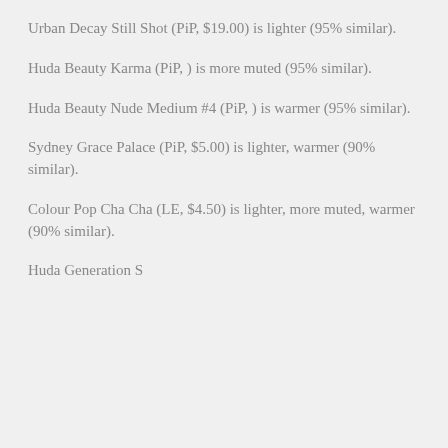Urban Decay Still Shot (PiP, $19.00) is lighter (95% similar).
Huda Beauty Karma (PiP, ) is more muted (95% similar).
Huda Beauty Nude Medium #4 (PiP, ) is warmer (95% similar).
Sydney Grace Palace (PiP, $5.00) is lighter, warmer (90% similar).
Colour Pop Cha Cha (LE, $4.50) is lighter, more muted, warmer (90% similar).
Huda Generation (PiP, ) is lighter...